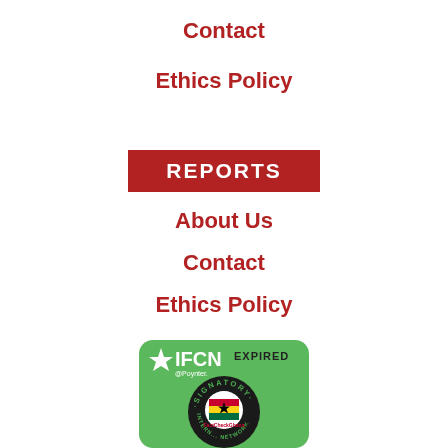Contact
Ethics Policy
REPORTS
About Us
Contact
Ethics Policy
[Figure (logo): IFCN @ Poynter EXPIRED Signatory badge with FactCheckGhana logo on green circular seal]